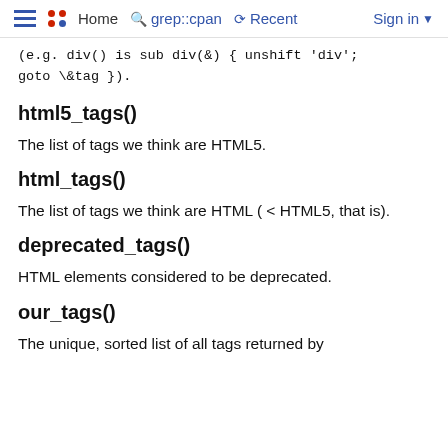Home  grep::cpan  Recent  Sign in
(e.g. div() is sub div(&) { unshift 'div'; goto \&tag }).
html5_tags()
The list of tags we think are HTML5.
html_tags()
The list of tags we think are HTML ( < HTML5, that is).
deprecated_tags()
HTML elements considered to be deprecated.
our_tags()
The unique, sorted list of all tags returned by